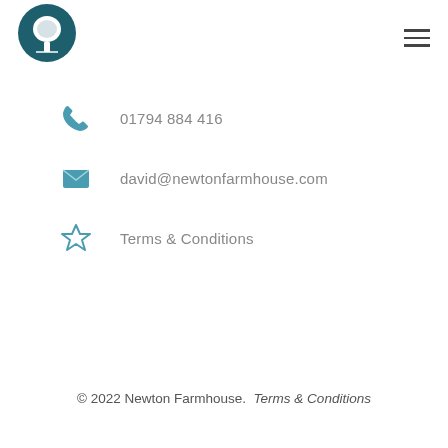[Figure (logo): Newton Farmhouse logo: white tree silhouette inside a dark teal circle]
01794 884 416
david@newtonfarmhouse.com
Terms & Conditions
© 2022 Newton Farmhouse. Terms & Conditions